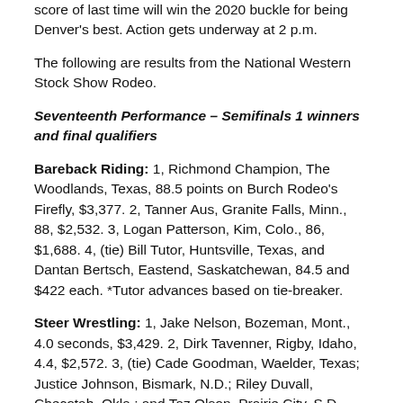score of last time will win the 2020 buckle for being Denver's best. Action gets underway at 2 p.m.
The following are results from the National Western Stock Show Rodeo.
Seventeenth Performance – Semifinals 1 winners and final qualifiers
Bareback Riding: 1, Richmond Champion, The Woodlands, Texas, 88.5 points on Burch Rodeo's Firefly, $3,377. 2, Tanner Aus, Granite Falls, Minn., 88, $2,532. 3, Logan Patterson, Kim, Colo., 86, $1,688. 4, (tie) Bill Tutor, Huntsville, Texas, and Dantan Bertsch, Eastend, Saskatchewan, 84.5 and $422 each. *Tutor advances based on tie-breaker.
Steer Wrestling: 1, Jake Nelson, Bozeman, Mont., 4.0 seconds, $3,429. 2, Dirk Tavenner, Rigby, Idaho, 4.4, $2,572. 3, (tie) Cade Goodman, Waelder, Texas; Justice Johnson, Bismark, N.D.; Riley Duvall, Checotah, Okla.; and Taz Olson, Prairie City, S.D.,